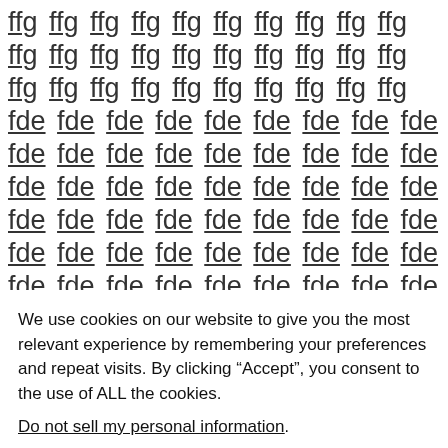ffg ffg ffg ffg ffg ffg ffg ffg ffg ffg ffg ffg ffg ffg ffg ffg ffg ffg ffg ffg ffg ffg ffg ffg ffg ffg ffg ffg ffg ffg fde fde fde fde fde fde fde fde fde fde fde fde fde fde fde fde fde fde fde fde fde fde fde fde fde fde fde fde fde fde fde fde fde fde fde fde fde fde fde fde fde fde fde fde fde fde fde fde fde fde fde fde fde fde fde fde fde fde fde fde fde fde fde fde fde fde fde fde fde fde fde fde fde fde fde fde fde fde fde fde fde fde fde fde fde fde fde fde fde fde fde fde fde fde fde fde fde fde fde fde fde fde fde fde fde fde fde fde fde fde gul gul gul gul gul gfgx fffo fffo fffo fffo fffo fffo fffo fffo fffo fffo fffo f gul
We use cookies on our website to give you the most relevant experience by remembering your preferences and repeat visits. By clicking “Accept”, you consent to the use of ALL the cookies.
Do not sell my personal information.